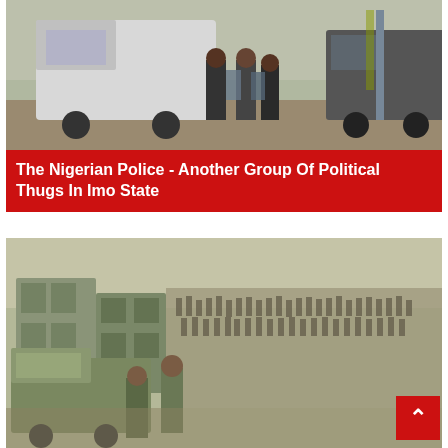[Figure (photo): Police or security forces in riot gear standing near vehicles, scene from Imo State Nigeria]
The Nigerian Police - Another Group Of Political Thugs In Imo State
[Figure (photo): Large group of soldiers or military personnel assembled outdoors near buildings and armored vehicles]